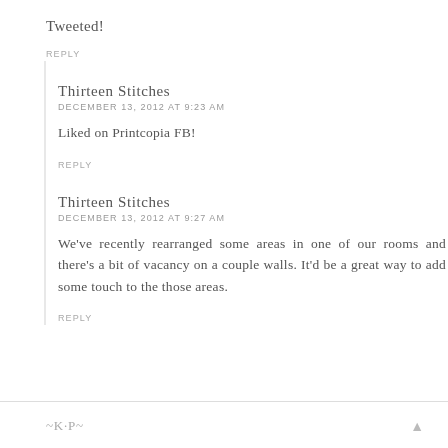Tweeted!
REPLY
Thirteen Stitches
DECEMBER 13, 2012 AT 9:23 AM
Liked on Printcopia FB!
REPLY
Thirteen Stitches
DECEMBER 13, 2012 AT 9:27 AM
We've recently rearranged some areas in one of our rooms and there's a bit of vacancy on a couple walls. It'd be a great way to add some touch to the those areas.
REPLY
~K·P~